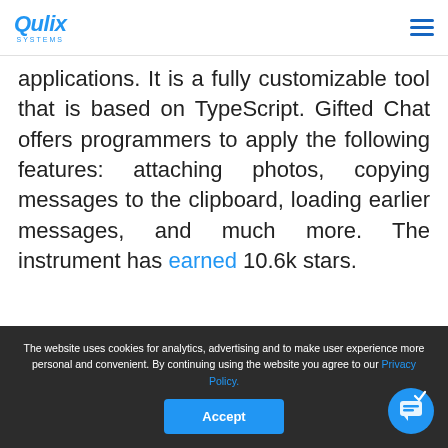Qulix Systems
applications. It is a fully customizable tool that is based on TypeScript. Gifted Chat offers programmers to apply the following features: attaching photos, copying messages to the clipboard, loading earlier messages, and much more. The instrument has earned 10.6k stars.
[Figure (screenshot): React Native Camera section showing text label on left and camera icon on green background on right]
The website uses cookies for analytics, advertising and to make user experience more personal and convenient. By continuing using the website you agree to our Privacy Policy.
Accept